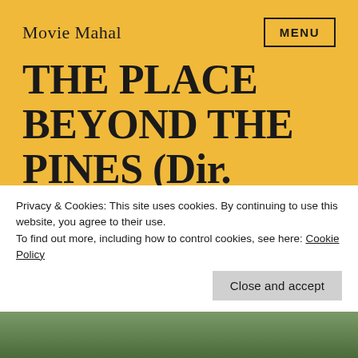Movie Mahal
THE PLACE BEYOND THE PINES (Dir. Derek Cianfrance, 2012, US) – Eclipse of the Son [Spoilers ahead!]
Privacy & Cookies: This site uses cookies. By continuing to use this website, you agree to their use.
To find out more, including how to control cookies, see here: Cookie Policy
Close and accept
[Figure (photo): Bottom strip showing a partial photo from the film]